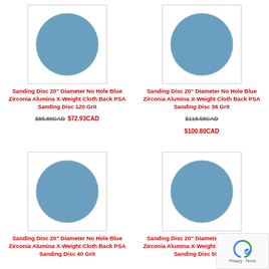[Figure (photo): Blue zirconia alumina sanding disc, top-left product]
Sanding Disc 20" Diameter No Hole Blue Zirconia Alumina X-Weight Cloth Back PSA Sanding Disc 120 Grit
$85.80CAD $72.93CAD
[Figure (photo): Blue zirconia alumina sanding disc, top-right product]
Sanding Disc 20" Diameter No Hole Blue Zirconia Alumina X-Weight Cloth Back PSA Sanding Disc 36 Grit
$118.58CAD $100.80CAD
[Figure (photo): Blue zirconia alumina sanding disc, bottom-left product]
Sanding Disc 20" Diameter No Hole Blue Zirconia Alumina X-Weight Cloth Back PSA Sanding Disc 40 Grit
[Figure (photo): Blue zirconia alumina sanding disc, bottom-right product]
Sanding Disc 20" Diameter No Hole Blue Zirconia Alumina X-Weight Cloth Back PSA Sanding Disc 50 Grit